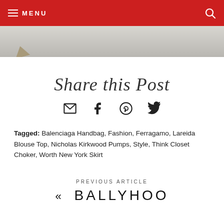MENU
[Figure (photo): Top portion of a street photo showing pavement/sidewalk with a brown envelope or package in the lower left corner, cropped by the red navigation bar above]
Share this Post
Social share icons: email, facebook, pinterest, twitter
Tagged: Balenciaga Handbag, Fashion, Ferragamo, Lareida Blouse Top, Nicholas Kirkwood Pumps, Style, Think Closet Choker, Worth New York Skirt
PREVIOUS ARTICLE
« BALLYHOO